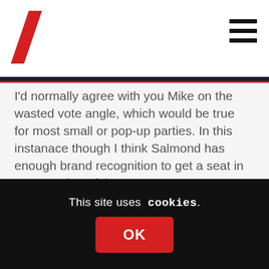[Figure (logo): Red diagonal slash mark logo in top left]
[Figure (other): Hamburger menu icon (three horizontal lines) in top right]
I'd normally agree with you Mike on the wasted vote angle, which would be true for most small or pop-up parties. In this instanace though I think Salmond has enough brand recognition to get a seat in every region. If the new party gets disillusioned SNP voters into the polling booth then surely that is a good thing? I don't see a downside for the SNP, but this could be bad news for the Greens unfortunately.
The supermajority isn't just a buzzword, but an important technical point about the number of MSPs (two thirds) required to call an
This site uses cookies.